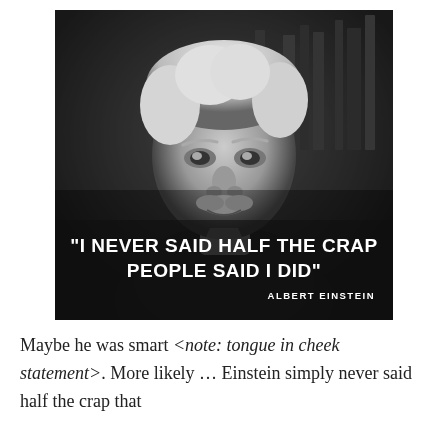[Figure (photo): Black and white photograph of Albert Einstein sitting, looking at the camera, with wild white hair and mustache, in a dark setting. Overlaid with a quote in bold white text: '"I NEVER SAID HALF THE CRAP PEOPLE SAID I DID"' attributed to ALBERT EINSTEIN.]
Maybe he was smart <note: tongue in cheek statement>. More likely … Einstein simply never said half the crap that